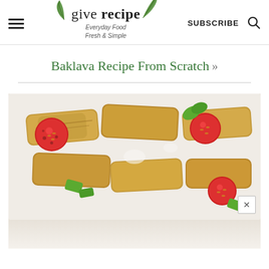give recipe — Everyday Food Fresh & Simple | SUBSCRIBE
Baklava Recipe From Scratch »
[Figure (photo): Overhead close-up photo of fried/baked rolls (börek or spring rolls) on a white plate, garnished with halved red cherry tomatoes and pieces of green pepper.]